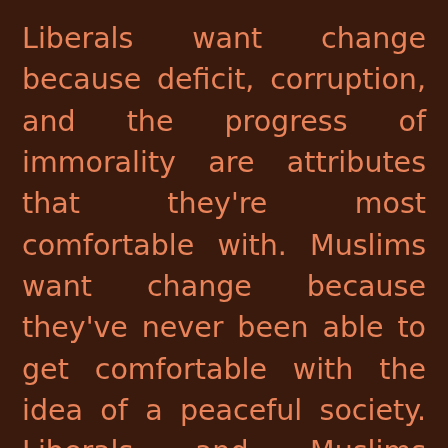Liberals want change because deficit, corruption, and the progress of immorality are attributes that they're most comfortable with. Muslims want change because they've never been able to get comfortable with the idea of a peaceful society. Liberals and Muslims deserve each other, and conservatives are stuck with both of them. Liberals kiss Muslims to court their vote and donations from Arabia; Muslims kiss their own and give others the Judas kiss. Are these hard words? If you are a Muslim, why not disprove me